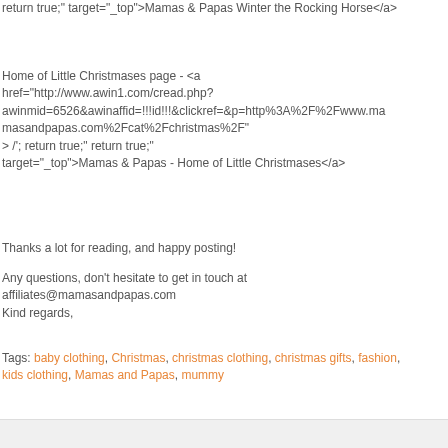onmouseout="self.status=''; return true;" target="_top">Mamas & Papas Winter the Rocking Horse</a>
Home of Little Christmases page - <a href="http://www.awin1.com/cread.php?awinmid=6526&awinaffid=!!!id!!!&clickref=&p=http%3A%2F%2Fwww.mamasandpapas.com%2Fcat%2Fchristmas%2F" onmouseover="self.status='http://www.mamasandpapas.com/cat/christmas/'; return true;" onmouseout="self.status=''; return true;" target="_top">Mamas & Papas - Home of Little Christmases</a>
Thanks a lot for reading, and happy posting!
Any questions, don't hesitate to get in touch at affiliates@mamasandpapas.com
Kind regards,
Tags: baby clothing, Christmas, christmas clothing, christmas gifts, fashion, kids clothing, Mamas and Papas, mummy